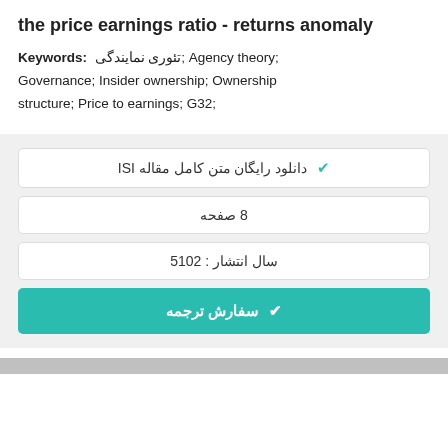the price earnings ratio - returns anomaly
Keywords: تئوری نمایندگی; Agency theory; Governance; Insider ownership; Ownership structure; Price to earnings; G32;
✓ دانلود رایگان متن کامل مقاله ISI
8 صفحه
سال انتشار : 2015
✓ سفارش ترجمه